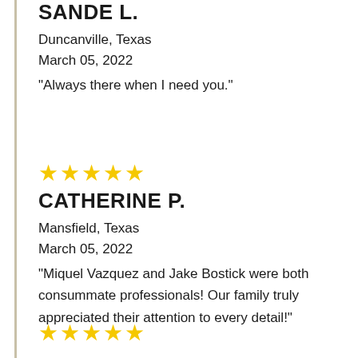SANDE L.
Duncanville, Texas
March 05, 2022
"Always there when I need you."
★★★★★
CATHERINE P.
Mansfield, Texas
March 05, 2022
"Miquel Vazquez and Jake Bostick were both consummate professionals! Our family truly appreciated their attention to every detail!"
★★★★★